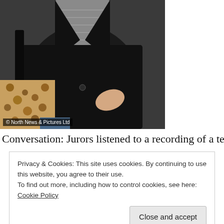[Figure (photo): A person wearing a black blazer and grey ruffled blouse, carrying a leopard-print bag and a black handbag. Watermark reads: © North News & Pictures Ltd]
Conversation: Jurors listened to a recording of a telephone
Privacy & Cookies: This site uses cookies. By continuing to use this website, you agree to their use.
To find out more, including how to control cookies, see here: Cookie Policy